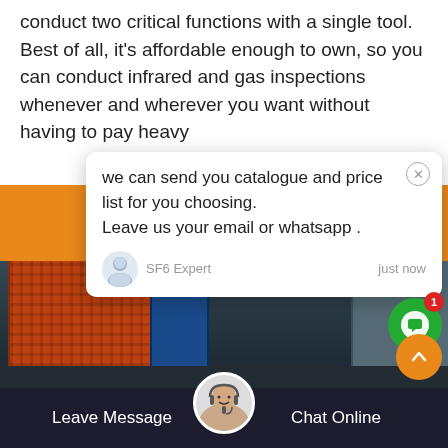conduct two critical functions with a single tool. Best of all, it's affordable enough to own, so you can conduct infrared and gas inspections whenever and wherever you want without having to pay heavy
[Figure (screenshot): Chat popup overlay on an industrial equipment photo. Chat message reads: 'we can send you catalogue and price list for you choosing. Leave us your email or whatsapp.' Sender: SF6 Expert, just now. Reply input box with thumbs-up and paperclip icons. Green chat bubble icon with badge '1'. Orange scroll-up button. Bottom bar with 'Leave Message', customer service avatar, and 'Chat Online' buttons.]